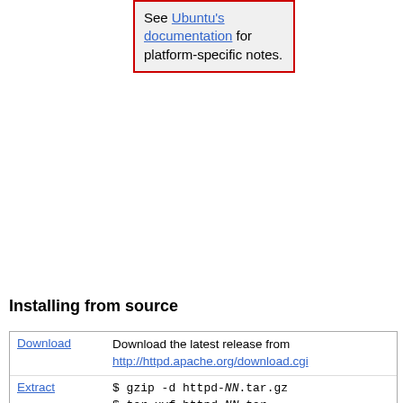See Ubuntu's documentation for platform-specific notes.
Installing from source
|  |  |
| --- | --- |
| Download | Download the latest release from http://httpd.apache.org/download.cgi |
| Extract | $ gzip -d httpd-NN.tar.gz
$ tar xvf httpd-NN.tar
$ cd httpd-NN |
| Configure | $ ./configure --prefix=PREFIX |
| Compile | $ make |
| Install | $ make install |
| Customize | $ vi PREFIX/conf/httpd.conf |
| Test | $ PREFIX/bin/apachectl -k start |